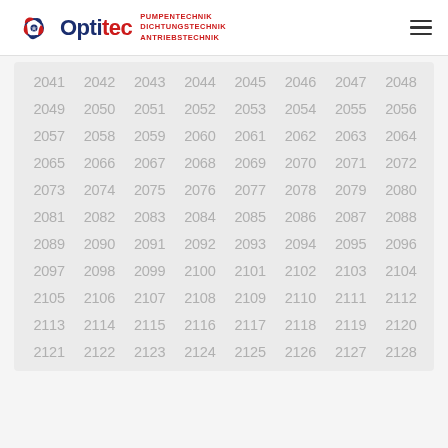Optitec - PUMPENTECHNIK DICHTUNGSTECHNIK ANTRIEBSTECHNIK
2041 2042 2043 2044 2045 2046 2047 2048 2049 2050 2051 2052 2053 2054 2055 2056 2057 2058 2059 2060 2061 2062 2063 2064 2065 2066 2067 2068 2069 2070 2071 2072 2073 2074 2075 2076 2077 2078 2079 2080 2081 2082 2083 2084 2085 2086 2087 2088 2089 2090 2091 2092 2093 2094 2095 2096 2097 2098 2099 2100 2101 2102 2103 2104 2105 2106 2107 2108 2109 2110 2111 2112 2113 2114 2115 2116 2117 2118 2119 2120 2121 2122 2123 2124 2125 2126 2127 2128